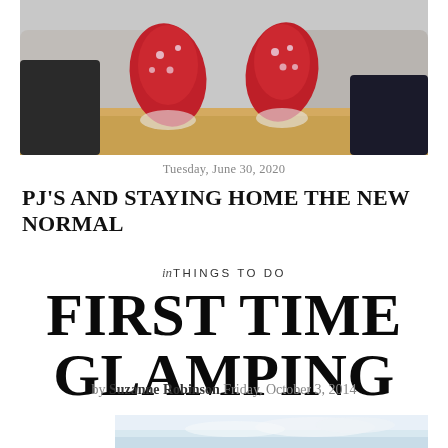[Figure (photo): Photo of two feet in red Christmas-themed socks resting on a wooden surface, with grey couch cushions in background]
Tuesday, June 30, 2020
PJ'S AND STAYING HOME THE NEW NORMAL
in THINGS TO DO
FIRST TIME GLAMPING
by Suzanne Robinson Friday, October 3, 2014
[Figure (photo): Partial photo of sky with clouds, bottom portion of page]